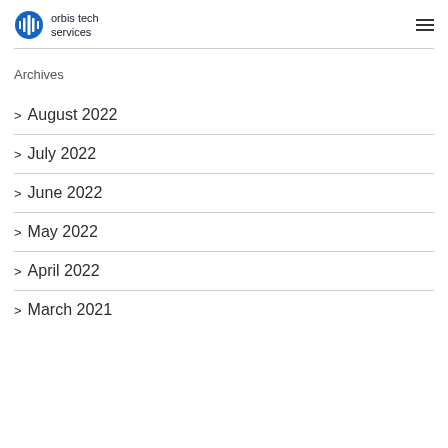orbis tech services
Archives
August 2022
July 2022
June 2022
May 2022
April 2022
March 2021